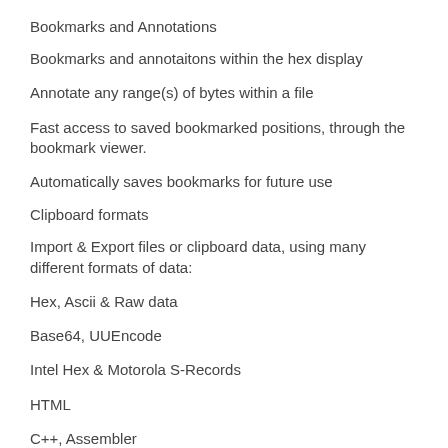Bookmarks and Annotations
Bookmarks and annotaitons within the hex display
Annotate any range(s) of bytes within a file
Fast access to saved bookmarked positions, through the bookmark viewer.
Automatically saves bookmarks for future use
Clipboard formats
Import & Export files or clipboard data, using many different formats of data:
Hex, Ascii & Raw data
Base64, UUEncode
Intel Hex & Motorola S-Records
HTML
C++, Assembler